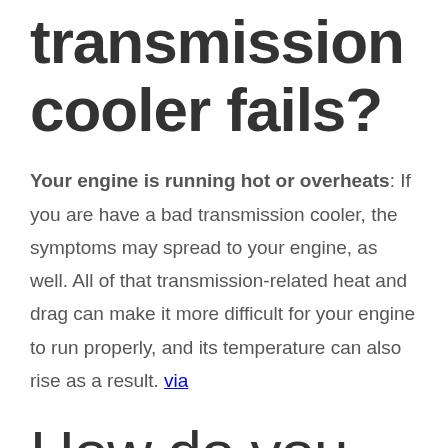transmission cooler fails?
Your engine is running hot or overheats: If you are have a bad transmission cooler, the symptoms may spread to your engine, as well. All of that transmission-related heat and drag can make it more difficult for your engine to run properly, and its temperature can also rise as a result. via
How do you unclog a